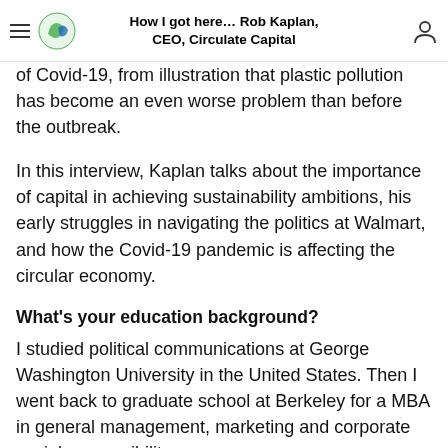How I got here... Rob Kaplan, CEO, Circulate Capital
of Covid-19, from illustration that plastic pollution has become an even worse problem than before the outbreak.
In this interview, Kaplan talks about the importance of capital in achieving sustainability ambitions, his early struggles in navigating the politics at Walmart, and how the Covid-19 pandemic is affecting the circular economy.
What's your education background?
I studied political communications at George Washington University in the United States. Then I went back to graduate school at Berkeley for a MBA in general management, marketing and corporate social responsibility.
What prompted you to choose a career in sustainability?
I have always been passionate about the environment